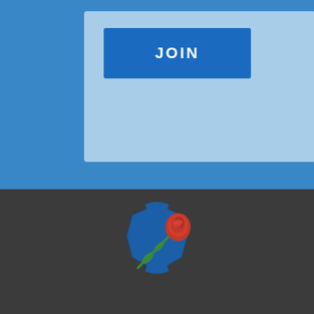[Figure (logo): Blue JOIN button on a light blue card within a blue background section]
[Figure (logo): National Law Enforcement Memorial logo: blue police badge with a red rose on a dark gray background]
DONATE
Our Purpose
The purpose of the National Law Enforcement Memorial and Museum is to honor the role of law enforcement, in